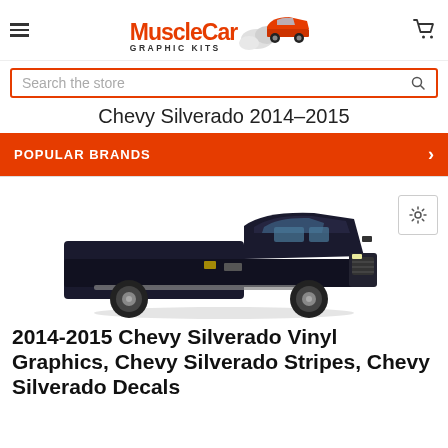[Figure (logo): MuscleCar Graphic Kits logo with red stylized text and car illustration]
Search the store
Chevy Silverado 2014-2015
POPULAR BRANDS
[Figure (photo): Black Chevy Silverado pickup truck, side/front 3/4 view]
2014-2015 Chevy Silverado Vinyl Graphics, Chevy Silverado Stripes, Chevy Silverado Decals